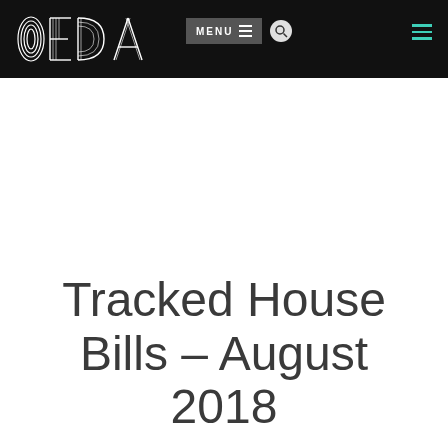OEDA — MENU
Tracked House Bills – August 2018